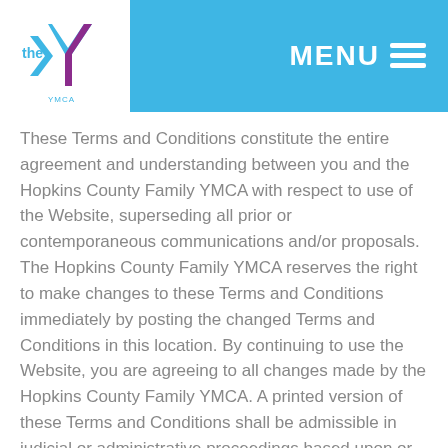MENU
These Terms and Conditions constitute the entire agreement and understanding between you and the Hopkins County Family YMCA with respect to use of the Website, superseding all prior or contemporaneous communications and/or proposals. The Hopkins County Family YMCA reserves the right to make changes to these Terms and Conditions immediately by posting the changed Terms and Conditions in this location. By continuing to use the Website, you are agreeing to all changes made by the Hopkins County Family YMCA. A printed version of these Terms and Conditions shall be admissible in judicial or administrative proceedings based upon or relating to use of the Website to the same extent and subject to the same conditions as other business documents and records originally generated and maintained in printed form.
The Website is controlled and operated by the Hopkins